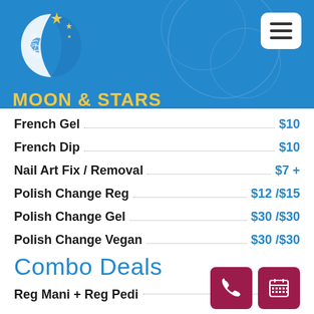[Figure (logo): Moon & Stars Spa + Nails logo — crescent moon with decorative swirls and gold stars on blue background, with text MOON & STARS SPA + NAILS in gold/white]
French Gel ... $10
French Dip ... $10
Nail Art Fix / Removal ... $7 +
Polish Change Reg ... $12 /$15
Polish Change Gel ... $30 /$30
Polish Change Vegan ... $30 /$30
Combo Deals
Reg Mani + Reg Pedi ...